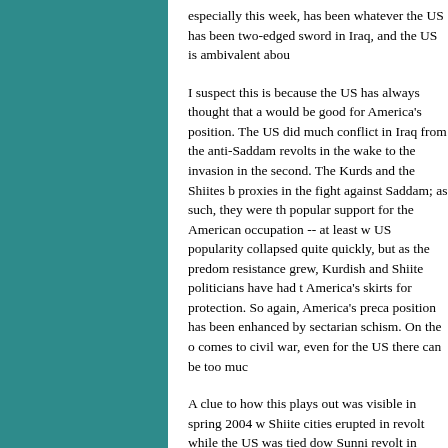especially this week, has been whatever the US has been two-edged sword in Iraq, and the US is ambivalent abou
I suspect this is because the US has always thought that a would be good for America's position. The US did much conflict in Iraq from the anti-Saddam revolts in the wake to the invasion in the second. The Kurds and the Shiites b proxies in the fight against Saddam; as such, they were th popular support for the American occupation -- at least w US popularity collapsed quite quickly, but as the predom resistance grew, Kurdish and Shiite politicians have had t America's skirts for protection. So again, America's preca position has been enhanced by sectarian schism. On the c comes to civil war, even for the US there can be too muc
A clue to how this plays out was visible in spring 2004 w Shiite cities erupted in revolt while the US was tied dow Sunni revolt in Fallujah. At that time, the US risked losin so had to back off and work out temporary political deals defuse the Shiites, this involved bringing Moqtada al-Sa for Fallujah, once Shiite opposition was co-opted and the safely in the bag, Bush proceded to raze the city, inflamin the further. Meanwhile, Sadr remains a vocal critic of the political strength in the dominant Shiite coalition has onl resistance must realize that as long as Sunnis are seen as